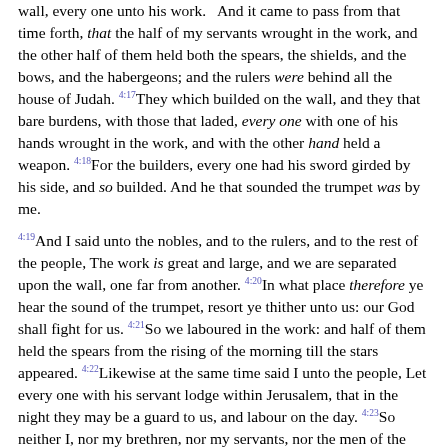wall, every one unto his work. And it came to pass from that time forth, that the half of my servants wrought in the work, and the other half of them held both the spears, the shields, and the bows, and the habergeons; and the rulers were behind all the house of Judah. 4:17They which builded on the wall, and they that bare burdens, with those that laded, every one with one of his hands wrought in the work, and with the other hand held a weapon. 4:18For the builders, every one had his sword girded by his side, and so builded. And he that sounded the trumpet was by me.
4:19And I said unto the nobles, and to the rulers, and to the rest of the people, The work is great and large, and we are separated upon the wall, one far from another. 4:20In what place therefore ye hear the sound of the trumpet, resort ye thither unto us: our God shall fight for us. 4:21So we laboured in the work: and half of them held the spears from the rising of the morning till the stars appeared. 4:22Likewise at the same time said I unto the people, Let every one with his servant lodge within Jerusalem, that in the night they may be a guard to us, and labour on the day. 4:23So neither I, nor my brethren, nor my servants, nor the men of the guard which followed me, none of us put off our clothes, saving that every one put them off for washing.
5:1And there was a great cry of the people and of their wives against their brethren the Jews. 5:2For there were that said, We, our